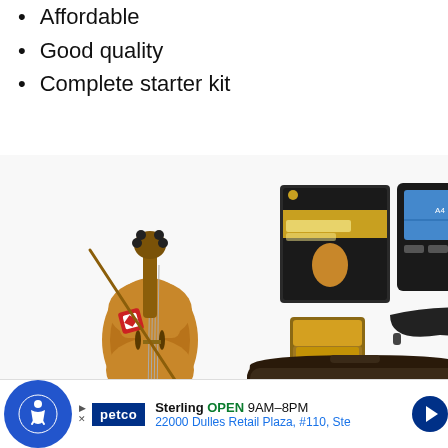Affordable
Good quality
Complete starter kit
[Figure (photo): Violin starter kit product photo showing a wooden violin, a digital tuner/metronome device, a violin instruction book, a rosin block, a shoulder rest, and a black violin case arranged together]
Sterling OPEN 9AM–8PM 22000 Dulles Retail Plaza, #110, Ste